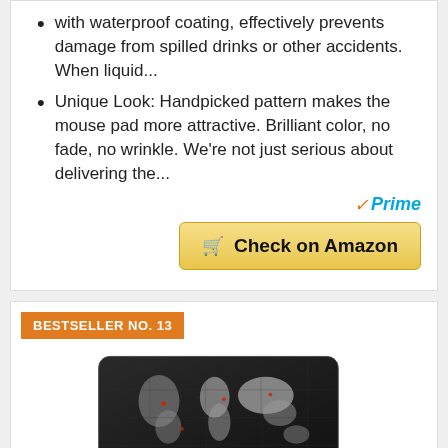with waterproof coating, effectively prevents damage from spilled drinks or other accidents. When liquid...
Unique Look: Handpicked pattern makes the mouse pad more attractive. Brilliant color, no fade, no wrinkle. We're not just serious about delivering the...
[Figure (logo): Amazon Prime logo with orange checkmark and blue Prime text]
Check on Amazon
BESTSELLER NO. 13
[Figure (photo): Mouse pad with dark world map design, rolled/unrolled showing extended gaming mouse pad]